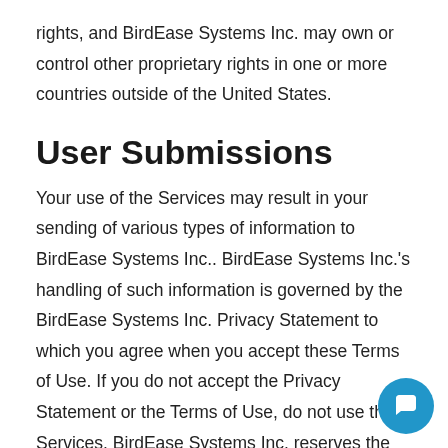rights, and BirdEase Systems Inc. may own or control other proprietary rights in one or more countries outside of the United States.
User Submissions
Your use of the Services may result in your sending of various types of information to BirdEase Systems Inc.. BirdEase Systems Inc.'s handling of such information is governed by the BirdEase Systems Inc. Privacy Statement to which you agree when you accept these Terms of Use. If you do not accept the Privacy Statement or the Terms of Use, do not use the Services. BirdEase Systems Inc. reserves the right to disclose, read,